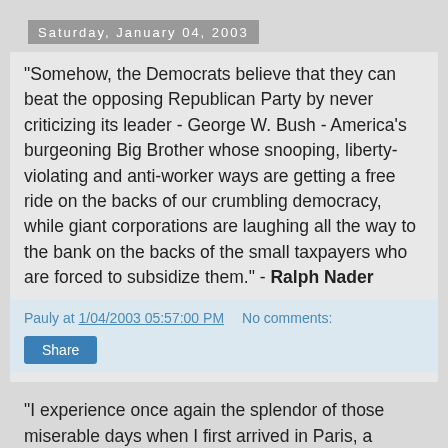Saturday, January 04, 2003
"Somehow, the Democrats believe that they can beat the opposing Republican Party by never criticizing its leader - George W. Bush - America's burgeoning Big Brother whose snooping, liberty-violating and anti-worker ways are getting a free ride on the backs of our crumbling democracy, while giant corporations are laughing all the way to the bank on the backs of the small taxpayers who are forced to subsidize them." - Ralph Nader
Pauly at 1/04/2003 05:57:00 PM   No comments:
Share
"I experience once again the splendor of those miserable days when I first arrived in Paris, a bewildered, poverty-stricken individual who haunted the streets like a ghost at a banquet." - Henry Miller, Tropic of Cancer